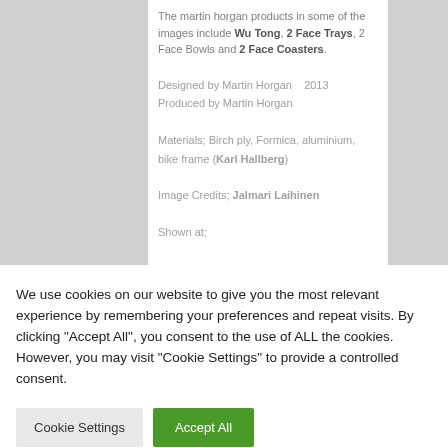The martin horgan products in some of the images include Wu Tong, 2 Face Trays, 2 Face Bowls and 2 Face Coasters.
Designed by Martin Horgan   2013
Produced by Martin Horgan
Materials; Birch ply, Formica, aluminium, bike frame (Karl Hallberg)
Image Credits; Jalmari Laihinen
Shown at;
We use cookies on our website to give you the most relevant experience by remembering your preferences and repeat visits. By clicking "Accept All", you consent to the use of ALL the cookies. However, you may visit "Cookie Settings" to provide a controlled consent.